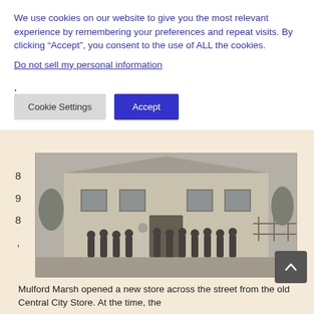We use cookies on our website to give you the most relevant experience by remembering your preferences and repeat visits. By clicking “Accept”, you consent to the use of ALL the cookies.
Do not sell my personal information.
Cookie Settings
Accept
8
9
8
,
[Figure (photo): Black and white historical photograph of a stone school building with a group of students and a teacher standing in front of it. The building is a two-story limestone structure. Trees are visible in the background.]
Central City, Kansas School
Mulford Marsh opened a new store across the street from the old Central City Store. At the time, the